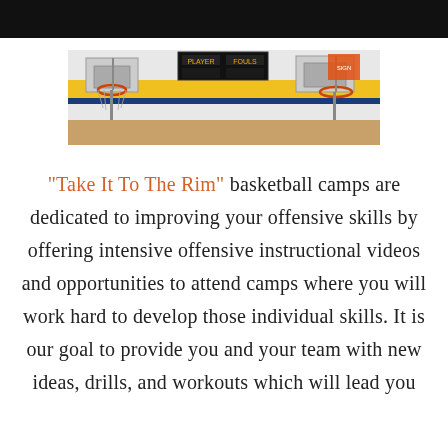[Figure (photo): Interior of a gymnasium showing basketball hoops, scoreboard, and yellow/blue wall stripes]
"Take It To The Rim" basketball camps are dedicated to improving your offensive skills by offering intensive offensive instructional videos and opportunities to attend camps where you will work hard to develop those individual skills. It is our goal to provide you and your team with new ideas, drills, and workouts which will lead you